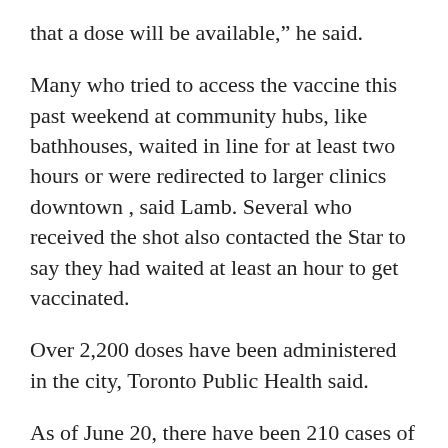that a dose will be available,” he said.
Many who tried to access the vaccine this past weekend at community hubs, like bathhouses, waited in line for at least two hours or were redirected to larger clinics downtown , said Lamb. Several who received the shot also contacted the Star to say they had waited at least an hour to get vaccinated.
Over 2,200 doses have been administered in the city, Toronto Public Health said.
As of June 20, there have been 210 cases of monkeypox across Canada, and 33 of those cases are in Ontario. Twenty-eight of those cases are in Toronto and all are affecting those identified as men.